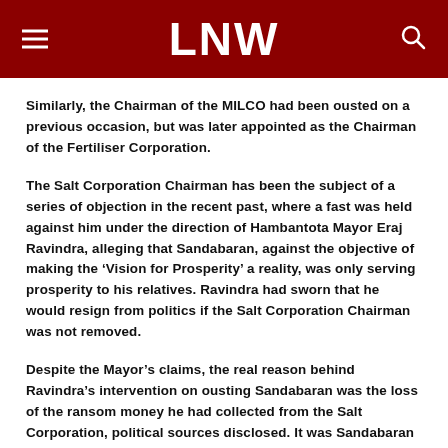LNW
Similarly, the Chairman of the MILCO had been ousted on a previous occasion, but was later appointed as the Chairman of the Fertiliser Corporation.
The Salt Corporation Chairman has been the subject of a series of objection in the recent past, where a fast was held against him under the direction of Hambantota Mayor Eraj Ravindra, alleging that Sandabaran, against the objective of making the ‘Vision for Prosperity’ a reality, was only serving prosperity to his relatives. Ravindra had sworn that he would resign from politics if the Salt Corporation Chairman was not removed.
Despite the Mayor’s claims, the real reason behind Ravindra’s intervention on ousting Sandabaran was the loss of the ransom money he had collected from the Salt Corporation, political sources disclosed. It was Sandabaran who ceased the reception of ransom